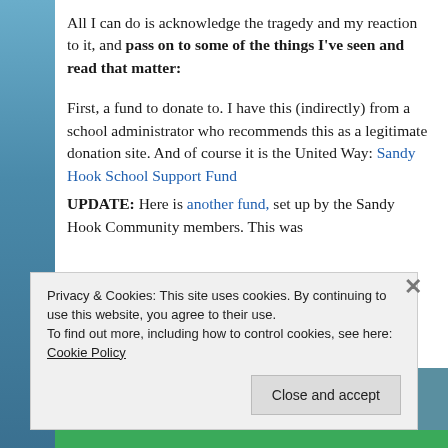All I can do is acknowledge the tragedy and my reaction to it, and pass on to some of the things I've seen and read that matter:
First, a fund to donate to. I have this (indirectly) from a school administrator who recommends this as a legitimate donation site. And of course it is the United Way: Sandy Hook School Support Fund
UPDATE: Here is another fund, set up by the Sandy Hook Community members. This was
Privacy & Cookies: This site uses cookies. By continuing to use this website, you agree to their use.
To find out more, including how to control cookies, see here: Cookie Policy
Close and accept